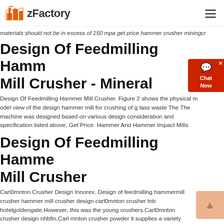zFactory
materials should not be in excess of 150 mpa get price hammer crusher miningcr
Design Of Feedmilling Hamm Mill Crusher - Mineral
Design Of Feedmilling Hammer Mill Crusher. Figure 2 shows the physical model view of the design hammer mill for crushing of glass waste The The machine was designed based on various design consideration and specification listed above. Get Price. Hammer And Hammer Impact Mills
Design Of Feedmilling Hammer Mill Crusher
Carl0mnton Crusher Design Innorex. Design of feedmilling hammermill crusher hammer mill crusher design carl0mnton crusher tnb hotelgoldengate.However, this was the young crushers.Carl0mnton crusher design nhbfin.Carl mnton crusher powder it supplies a variety